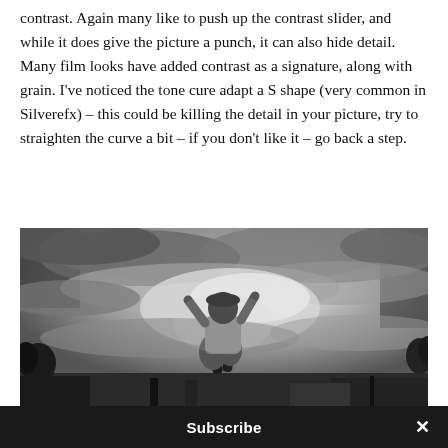contrast. Again many like to push up the contrast slider, and while it does give the picture a punch, it can also hide detail. Many film looks have added contrast as a signature, along with grain. I've noticed the tone cure adapt a S shape (very common in Silverefx) – this could be killing the detail in your picture, try to straighten the curve a bit – if you don't like it – go back a step.
[Figure (photo): Black and white photo of a person jumping or leaping against a dramatic cloudy sky. The person is captured mid-air from behind, wearing baggy pants and a short-sleeved shirt with arms raised. Dark trees and structures are visible at the edges.]
Subscribe  ×